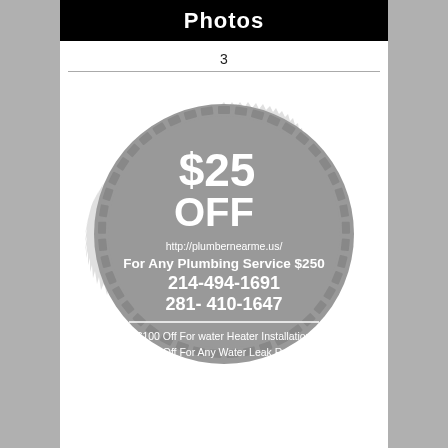Photos
3
[Figure (other): Circular coupon/badge with serrated edge on gray background. Shows '$25 OFF', URL http://plumbernearme.us/, 'For Any Plumbing Service $250', phone numbers 214-494-1691 and 281-410-1647, and additional offers: '$100 Off For water Heater Installation', '$40 Off For Any Water Leak Repair'.]